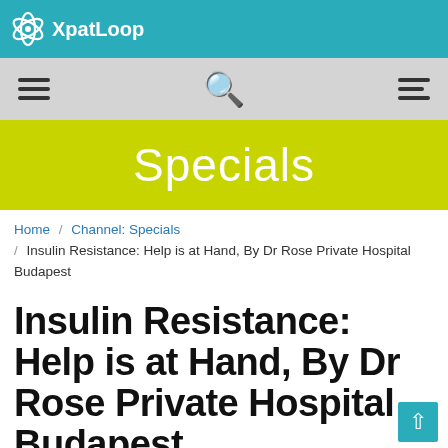XpatLoop
Specials
Home / Channel: Specials / Insulin Resistance: Help is at Hand, By Dr Rose Private Hospital Budapest
Insulin Resistance: Help is at Hand, By Dr Rose Private Hospital Budapest